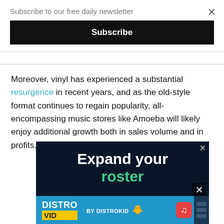Subscribe to our free daily newsletter
Subscribe
Moreover, vinyl has experienced a substantial resurgence in recent years, and as the old-style format continues to regain popularity, all-encompassing music stores like Amoeba will likely enjoy additional growth both in sales volume and in profits.
[Figure (infographic): Advertisement for DistroVid by DistroKid showing 'Expand your roster' text on dark background with teal green 'roster' text, and a blue footer with DistroVid and DistroKid branding]